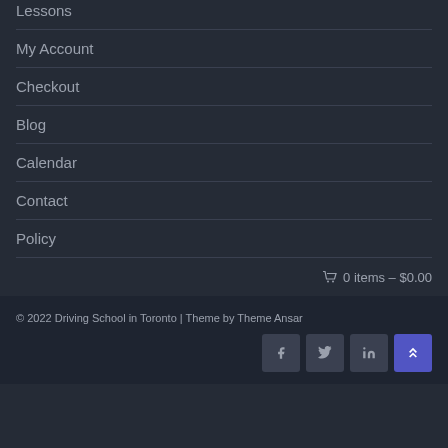Lessons
My Account
Checkout
Blog
Calendar
Contact
Policy
🛒 0 items - $0.00
© 2022 Driving School in Toronto | Theme by Theme Ansar